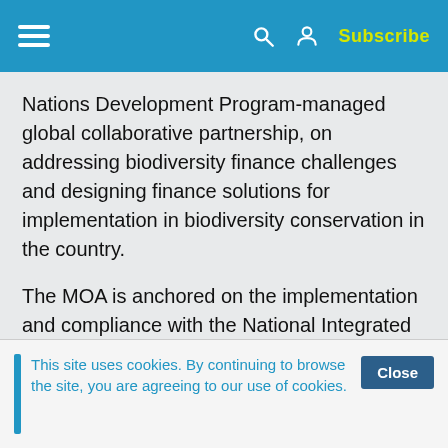[Figure (screenshot): Navigation bar with hamburger menu, search icon, user icon, and Subscribe button on blue background]
Nations Development Program-managed global collaborative partnership, on addressing biodiversity finance challenges and designing finance solutions for implementation in biodiversity conservation in the country.
The MOA is anchored on the implementation and compliance with the National Integrated Protected Areas System (NIPAS) Act, as amended by the Expanded NIPAS Act of 2018.
This site uses cookies. By continuing to browse the site, you are agreeing to our use of cookies.